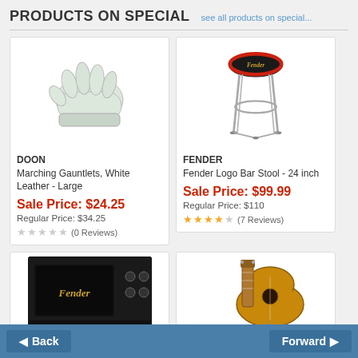PRODUCTS ON SPECIAL   see all products on special...
[Figure (photo): White leather marching gauntlets gloves illustration]
DOON
Marching Gauntlets, White Leather - Large
Sale Price: $24.25
Regular Price: $34.25
(0 Reviews)
[Figure (photo): Fender logo bar stool with red ring and chrome legs]
FENDER
Fender Logo Bar Stool - 24 inch
Sale Price: $99.99
Regular Price: $110
(7 Reviews)
[Figure (photo): Fender black guitar amplifier]
[Figure (photo): Acoustic guitar in natural/blonde finish]
Back   Forward